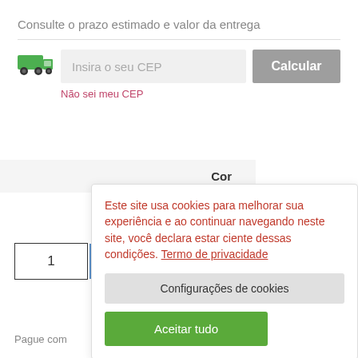Consulte o prazo estimado e valor da entrega
[Figure (illustration): Green delivery truck icon]
Insira o seu CEP
Calcular
Não sei meu CEP
Cor
Tamanho
1
Pague com
Este site usa cookies para melhorar sua experiência e ao continuar navegando neste site, você declara estar ciente dessas condições. Termo de privacidade
Configurações de cookies
Aceitar tudo